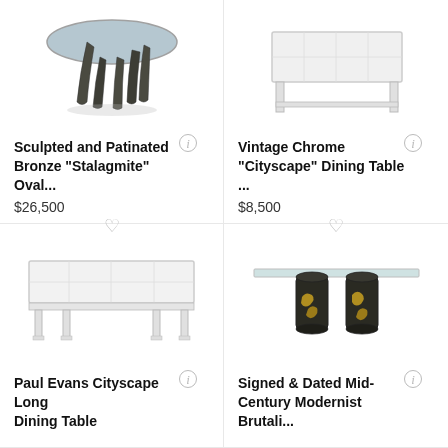[Figure (photo): Sculpted and patinated bronze stalagmite oval dining table with glass top, dark metallic organic legs]
Sculpted and Patinated Bronze "Stalagmite" Oval...
$26,500
[Figure (photo): Vintage chrome Cityscape dining table with white/chrome rectangular frame]
Vintage Chrome "Cityscape" Dining Table ...
$8,500
[Figure (photo): Paul Evans Cityscape long dining table with white lacquered rectangular top and chrome legs]
Paul Evans Cityscape Long Dining Table
[Figure (photo): Signed and dated mid-century modernist brutalist dining table with glass top and two dark bronze/gold sculptural cylindrical bases]
Signed & Dated Mid-Century Modernist Brutali...